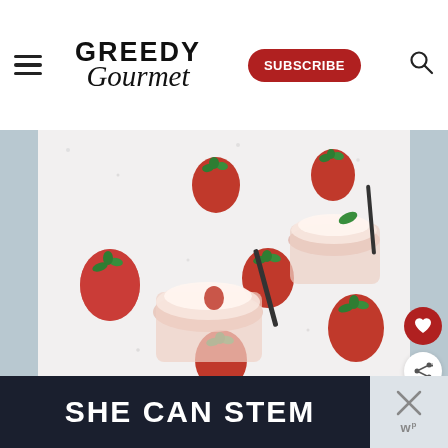Greedy Gourmet — SUBSCRIBE
[Figure (photo): Overhead flat lay of strawberry milkshakes or ice cream floats in glasses with black straws, surrounded by fresh strawberries scattered on a white speckled surface]
WHAT'S NEXT → Christmas Rice - A...
[Figure (screenshot): Advertisement banner reading SHE CAN STEM with close/dismiss button on right]